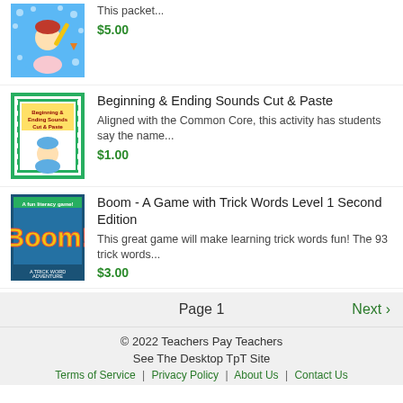[Figure (illustration): Product thumbnail for a writing/packet product showing a cartoon girl with pencil on blue polka dot background]
This packet...
$5.00
[Figure (illustration): Beginning & Ending Sounds Cut & Paste product thumbnail with green border and cartoon student]
Beginning & Ending Sounds Cut & Paste
Aligned with the Common Core, this activity has students say the name...
$1.00
[Figure (illustration): Boom - A Game with Trick Words Level 1 Second Edition product thumbnail with yellow BOOM text on dark background]
Boom - A Game with Trick Words Level 1 Second Edition
This great game will make learning trick words fun! The 93 trick words...
$3.00
Page 1  Next ›
© 2022 Teachers Pay Teachers
See The Desktop TpT Site
Terms of Service  |  Privacy Policy  |  About Us  |  Contact Us